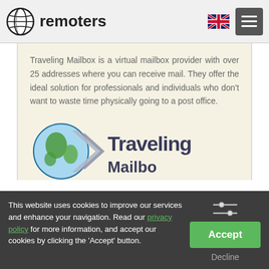remoters
Traveling Mailbox is a virtual mailbox provider with over 25 addresses where you can receive mail. They offer the ideal solution for professionals and individuals who don't want to waste time physically going to a post office.
[Figure (logo): Traveling Mailbox logo with globe and arrow graphic and 'Traveling Mailbox' text]
This website uses cookies to improve our services and enhance your navigation. Read our privacy policy for more information, and accept our cookies by clicking the 'Accept' button.